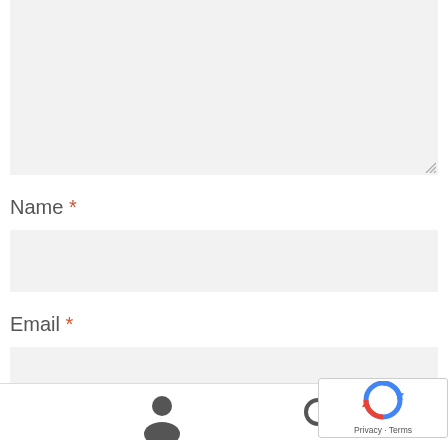[Figure (screenshot): A textarea input box with light gray background and resize handle in the bottom-right corner]
Name *
[Figure (screenshot): A text input field with light gray background for the Name field]
Email *
[Figure (screenshot): A text input field with light gray background for the Email field]
[Figure (screenshot): Bottom navigation bar with user icon, search icon, and cart icon, plus a reCAPTCHA badge in the corner]